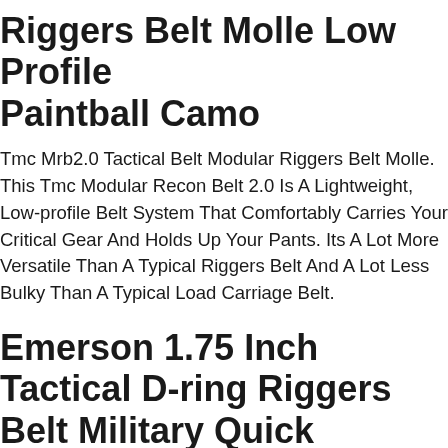Riggers Belt Molle Low Profile Paintball Camo
Tmc Mrb2.0 Tactical Belt Modular Riggers Belt Molle. This Tmc Modular Recon Belt 2.0 Is A Lightweight, Low-profile Belt System That Comfortably Carries Your Critical Gear And Holds Up Your Pants. Its A Lot More Versatile Than A Typical Riggers Belt And A Lot Less Bulky Than A Typical Load Carriage Belt.
Emerson 1.75 Inch Tactical D-ring Riggers Belt Military Quick Release Buckle Men
Tactical Pants. Tactical Holster. Tactical Vest. Tactical Boots. Outdoor Tactical Gun Belt Can Be Worn With Most Casual And Tactical Pants, Allowing You Comfortably Fit Any Belt Holster Or Molle Pouch.
Blackhawk Cqb/rigger's Belt - Olive Drab, Large